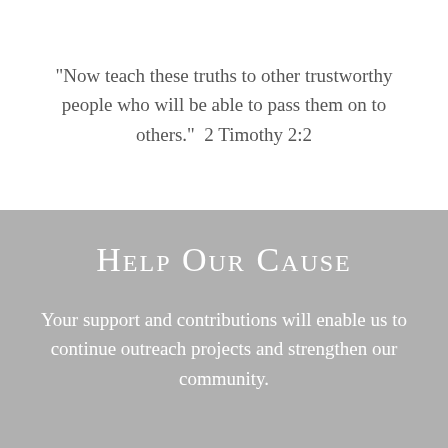“Now teach these truths to other trustworthy people who will be able to pass them on to others.”  2 Timothy 2:2
Help Our Cause
Your support and contributions will enable us to continue outreach projects and strengthen our community.